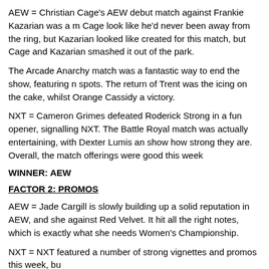AEW = Christian Cage's AEW debut match against Frankie Kazarian was a... Cage look like he'd never been away from the ring, but Kazarian looked like... created for this match, but Cage and Kazarian smashed it out of the park.
The Arcade Anarchy match was a fantastic way to end the show, featuring n... spots. The return of Trent was the icing on the cake, whilst Orange Cassidy a... victory.
NXT = Cameron Grimes defeated Roderick Strong in a fun opener, signalling... NXT. The Battle Royal match was actually entertaining, with Dexter Lumis ar... show how strong they are. Overall, the match offerings were good this week...
WINNER: AEW
FACTOR 2: PROMOS
AEW = Jade Cargill is slowly building up a solid reputation in AEW, and she... against Red Velvet. It hit all the right notes, which is exactly what she needs... Women's Championship.
NXT = NXT featured a number of strong vignettes and promos this week, bu...
WINNER: AEW
FACTOR 3: STORYLINES